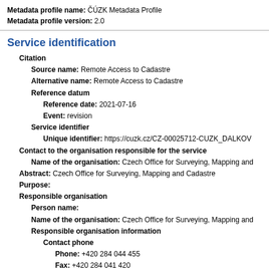Metadata profile name: ČÚZK Metadata Profile
Metadata profile version: 2.0
Service identification
Citation
Source name: Remote Access to Cadastre
Alternative name: Remote Access to Cadastre
Reference datum
Reference date: 2021-07-16
Event: revision
Service identifier
Unique identifier: https://cuzk.cz/CZ-00025712-CUZK_DALKOV
Contact to the organisation responsible for the service
Name of the organisation: Czech Office for Surveying, Mapping and
Abstract: Czech Office for Surveying, Mapping and Cadastre
Purpose:
Responsible organisation
Person name:
Name of the organisation: Czech Office for Surveying, Mapping and
Responsible organisation information
Contact phone
Phone: +420 284 044 455
Fax: +420 284 041 420
Address